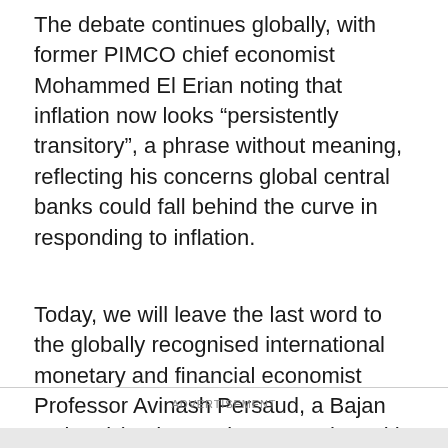The debate continues globally, with former PIMCO chief economist Mohammed El Erian noting that inflation now looks “persistently transitory”, a phrase without meaning, reflecting his concerns global central banks could fall behind the curve in responding to inflation.
Today, we will leave the last word to the globally recognised international monetary and financial economist Professor Avinash Persaud, a Bajan national (and sometime co-author with Professor Goodhart) who has also presented his research locally in Jamaica mainly to the Bank of Jamaica. He observes :
ADVERTISEMENT